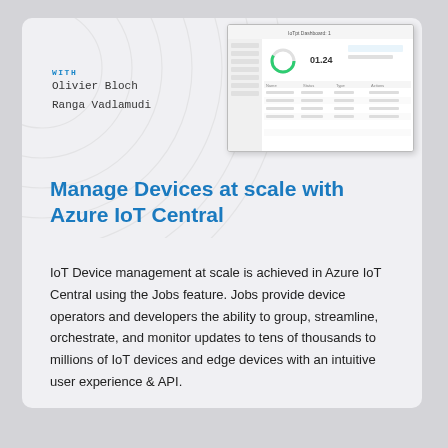WITH
Olivier Bloch
Ranga Vadlamudi
[Figure (screenshot): Screenshot of Azure IoT Central dashboard showing device management interface with a table of devices and statistics, including a circular progress indicator and the number 01.24]
Manage Devices at scale with Azure IoT Central
IoT Device management at scale is achieved in Azure IoT Central using the Jobs feature. Jobs provide device operators and developers the ability to group, streamline, orchestrate, and monitor updates to tens of thousands to millions of IoT devices and edge devices with an intuitive user experience & API.